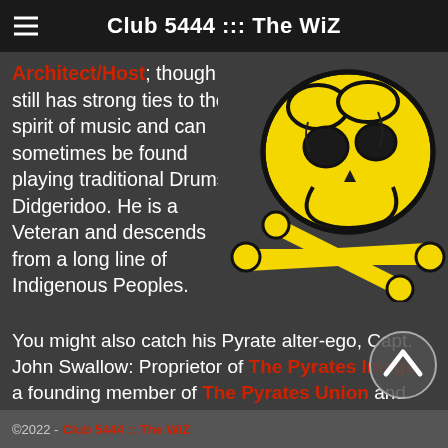Club 5444 ::: The WiZ
Architect/Host; though he still has strong ties to the spirit of music and can sometimes be found playing traditional Drums & Didgeridoo. He is a Veteran and descends from a long line of Indigenous Peoples.
[Figure (illustration): Yellow skull with crossed bones or sticks, cartoon pirate-style illustration on dark background]
You might also catch his Pyrate alter-ego, Capt. John Swallow: Proprietor of The Pyrates Image, a founding member of The Pyrates Union and NOLA Pyrate Week…or with the Kinnikinnick Trading Company at Pow Wow and historical events.
©2022 - Club 5444 :: The WiZ